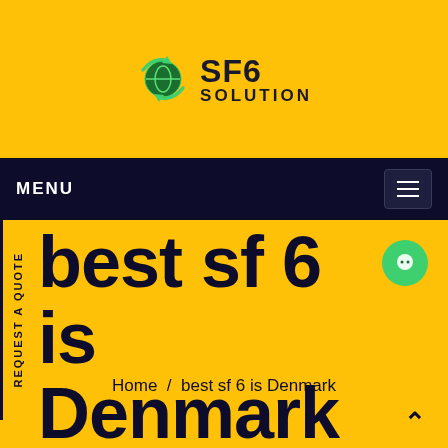[Figure (logo): SF6 Solution logo with green recycling arrows globe icon, bold text SF6 SOLUTION]
MENU
REQUEST A QUOTE
best sf 6 is Denmark
Home / best sf 6 is Denmark